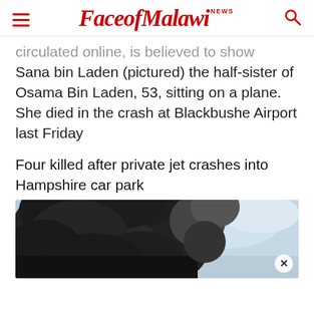FaceofMalawi NEWS
circulated online, is believed to show Sana bin Laden (pictured) the half-sister of Osama Bin Laden, 53, sitting on a plane. She died in the crash at Blackbushe Airport last Friday
Four killed after private jet crashes into Hampshire car park
[Figure (photo): Dark black smoke billowing into a cloudy sky, from a crash site]